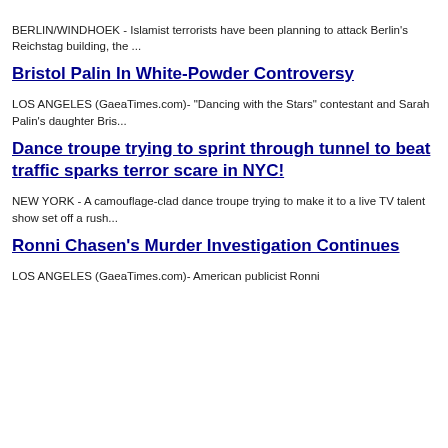BERLIN/WINDHOEK - Islamist terrorists have been planning to attack Berlin's Reichstag building, the ...
Bristol Palin In White-Powder Controversy
LOS ANGELES (GaeaTimes.com)- "Dancing with the Stars" contestant and Sarah Palin's daughter Bris...
Dance troupe trying to sprint through tunnel to beat traffic sparks terror scare in NYC!
NEW YORK - A camouflage-clad dance troupe trying to make it to a live TV talent show set off a rush...
Ronni Chasen's Murder Investigation Continues
LOS ANGELES (GaeaTimes.com)- American publicist Ronni